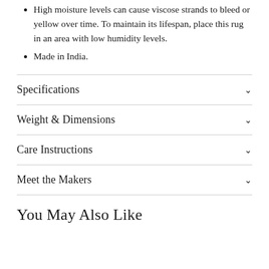High moisture levels can cause viscose strands to bleed or yellow over time. To maintain its lifespan, place this rug in an area with low humidity levels.
Made in India.
Specifications
Weight & Dimensions
Care Instructions
Meet the Makers
You May Also Like